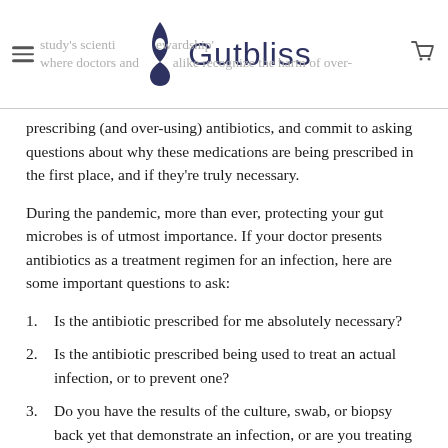Gutbliss — study's scientific case for 'antibiotic stewardship' where doctors and patients alike recognize the harm of over-
prescribing (and over-using) antibiotics, and commit to asking questions about why these medications are being prescribed in the first place, and if they're truly necessary.
During the pandemic, more than ever, protecting your gut microbes is of utmost importance. If your doctor presents antibiotics as a treatment regimen for an infection, here are some important questions to ask:
Is the antibiotic prescribed for me absolutely necessary?
Is the antibiotic prescribed being used to treat an actual infection, or to prevent one?
Do you have the results of the culture, swab, or biopsy back yet that demonstrate an infection, or are you treating me presumptively because you think the results…